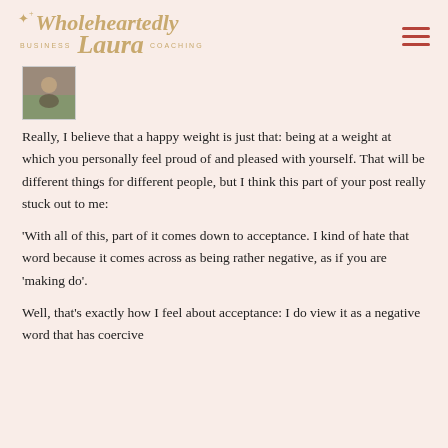Wholeheartedly Laura BUSINESS COACHING
[Figure (photo): Small thumbnail photo of a person outdoors]
Really, I believe that a happy weight is just that: being at a weight at which you personally feel proud of and pleased with yourself. That will be different things for different people, but I think this part of your post really stuck out to me:
'With all of this, part of it comes down to acceptance. I kind of hate that word because it comes across as being rather negative, as if you are 'making do'.
Well, that's exactly how I feel about acceptance: I do view it as a negative word that has coercive